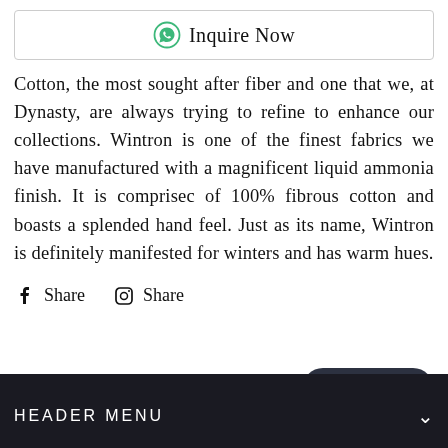[Figure (other): WhatsApp-style Inquire Now button with green chat icon and border]
Cotton, the most sought after fiber and one that we, at Dynasty, are always trying to refine to enhance our collections. Wintron is one of the finest fabrics we have manufactured with a magnificent liquid ammonia finish. It is comprisec of 100% fibrous cotton and boasts a splended hand feel. Just as its name, Wintron is definitely manifested for winters and has warm hues.
Share  Share
HEADER MENU
Chat with us